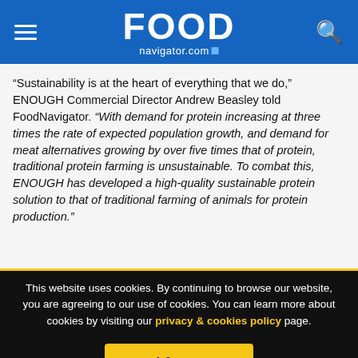FOOD navigator.com
“Sustainability is at the heart of everything that we do,” ENOUGH Commercial Director Andrew Beasley told FoodNavigator. “With demand for protein increasing at three times the rate of expected population growth, and demand for meat alternatives growing by over five times that of protein, traditional protein farming is unsustainable. To combat this, ENOUGH has developed a high-quality sustainable protein solution to that of traditional farming of animals for protein production.”
This website uses cookies. By continuing to browse our website, you are agreeing to our use of cookies. You can learn more about cookies by visiting our privacy & cookies policy page.
I Agree